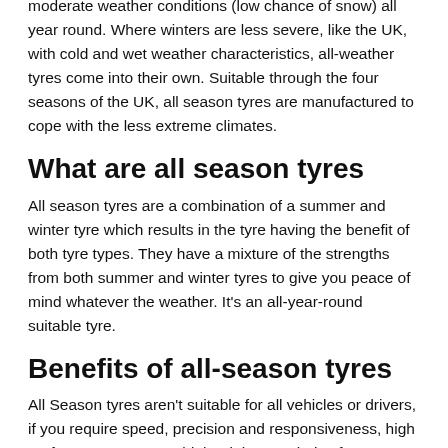All season tyres are designed to perform in countries that have moderate weather conditions (low chance of snow) all year round. Where winters are less severe, like the UK, with cold and wet weather characteristics, all-weather tyres come into their own. Suitable through the four seasons of the UK, all season tyres are manufactured to cope with the less extreme climates.
What are all season tyres
All season tyres are a combination of a summer and winter tyre which results in the tyre having the benefit of both tyre types. They have a mixture of the strengths from both summer and winter tyres to give you peace of mind whatever the weather. It's an all-year-round suitable tyre.
Benefits of all-season tyres
All Season tyres aren't suitable for all vehicles or drivers, if you require speed, precision and responsiveness, high performance tyres could the right tyre choice for you.